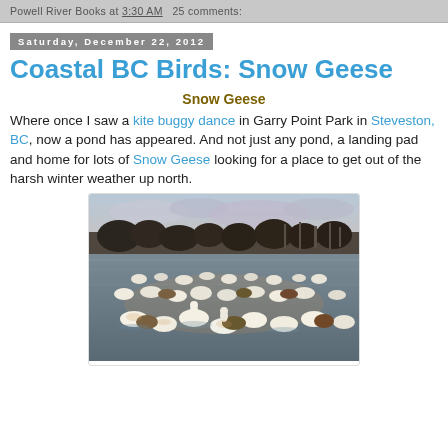Powell River Books at 3:30 AM   25 comments:
Saturday, December 22, 2012
Coastal BC Birds: Snow Geese
Snow Geese
Where once I saw a kite buggy dance in Garry Point Park in Steveston, BC, now a pond has appeared. And not just any pond, a landing pad and home for lots of Snow Geese looking for a place to get out of the harsh winter weather up north.
[Figure (photo): Snow Geese gathered on a pond at dusk, with bare winter trees and buildings in the background. Many white geese floating on still water reflecting golden light.]